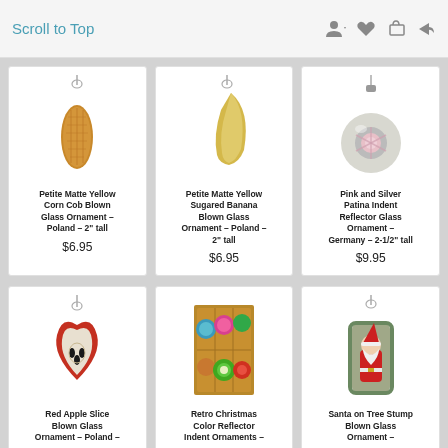Scroll to Top
[Figure (photo): Petite Matte Yellow Corn Cob Blown Glass Ornament – Poland – 2" tall]
Petite Matte Yellow Corn Cob Blown Glass Ornament – Poland – 2" tall
$6.95
[Figure (photo): Petite Matte Yellow Sugared Banana Blown Glass Ornament – Poland – 2" tall]
Petite Matte Yellow Sugared Banana Blown Glass Ornament – Poland – 2" tall
$6.95
[Figure (photo): Pink and Silver Patina Indent Reflector Glass Ornament – Germany – 2-1/2" tall]
Pink and Silver Patina Indent Reflector Glass Ornament – Germany – 2-1/2" tall
$9.95
[Figure (photo): Red Apple Slice Blown Glass Ornament – Poland]
Red Apple Slice Blown Glass Ornament – Poland –
[Figure (photo): Retro Christmas Color Reflector Indent Ornaments box]
Retro Christmas Color Reflector Indent Ornaments –
[Figure (photo): Santa on Tree Stump Blown Glass Ornament]
Santa on Tree Stump Blown Glass Ornament –